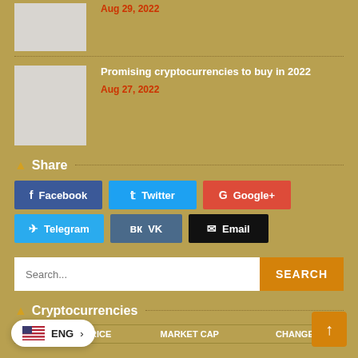[Figure (photo): Article thumbnail image placeholder (gray rectangle)]
Aug 29, 2022
[Figure (photo): Article thumbnail image placeholder (gray rectangle)]
Promising cryptocurrencies to buy in 2022
Aug 27, 2022
Share
Facebook
Twitter
Google+
Telegram
VK
Email
Search...
Cryptocurrencies
| NAME | PRICE | MARKET CAP | CHANGE % (7D) |
| --- | --- | --- | --- |